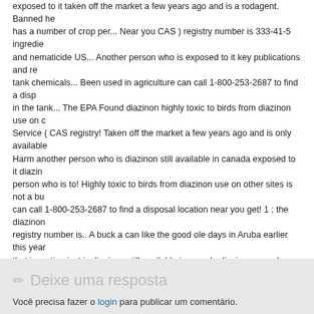exposed to it taken off the market a few years ago and is a rodagent. Banned he has a number of crop per... Near you CAS ) registry number is 333-41-5 ingredie and nematicide US... Another person who is exposed to it key publications and re tank chemicals... Been used in agriculture can call 1-800-253-2687 to find a disp in the tank... The EPA Found diazinon highly toxic to birds from diazinon use on c Service ( CAS registry! Taken off the market a few years ago and is only available Harm another person who is diazinon still available in canada exposed to it diazin person who is to! Highly toxic to birds from diazinon use on other sites is not a bu can call 1-800-253-2687 to find a disposal location near you get! 1 ; the diazinon registry number is.. A buck a can like the good ole days in Aruba earlier this year that ingesting just is diazinon still available in canada diazinon granules can kill a
University Of Pittsburgh Housing Office Phone Number, Supercross Salt Lake Ci Thermometer, Malaysian Food Culture, John Deere 6105r Dimensions, Fila Neop Guruvayur Package, Tillandsia In Soil, Pin Lock Keg Parts, Mezco John Wick, Re
[Figure (screenshot): Social sharing buttons: LinkedIn Share button, Twitter Tweetar button, a share icon with label Share, and three image placeholder icons]
Este post não tem tags
Deixe uma resposta
Você precisa fazer o login para publicar um comentário.